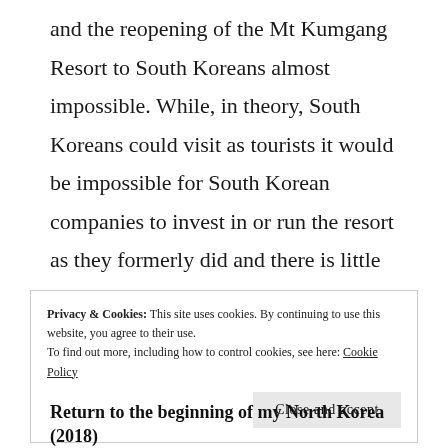and the reopening of the Mt Kumgang Resort to South Koreans almost impossible. While, in theory, South Koreans could visit as tourists it would be impossible for South Korean companies to invest in or run the resort as they formerly did and there is little doubt that the US would deny tourists land or sea access to the North via the DMZ or coastal waters which are basically controlled by the US.
Privacy & Cookies: This site uses cookies. By continuing to use this website, you agree to their use. To find out more, including how to control cookies, see here: Cookie Policy
Close and accept
Return to the beginning of my North Korea (2018)